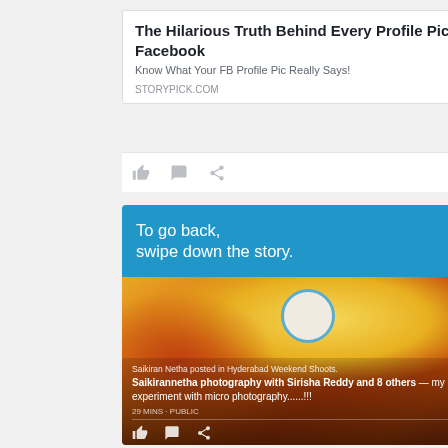The Hilarious Truth Behind Every Profile Pic On Facebook
Know What Your FB Profile Pic Really Says!
STORYPICK.COM
[Figure (screenshot): Facebook mobile app screenshot showing a story overlay UI. Blue banner at top reads 'To go back, swipe down the story.' with an X close button. Below is a photo of a yellow/orange flower petal with a circular avatar placeholder and blue ring. Post overlay at bottom reads: 'Saikiran Netha posted in Hyderabad Weekend Shoots. Saikirannetha photography with Sirisha Reddy and 8 others — my 1st experiment with micro photography......!!! 29 MINS · PUBLIC' with like, comment, share icons.]